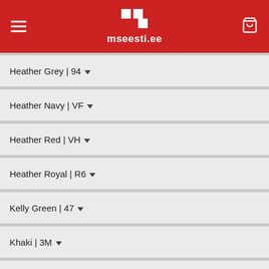mseesti.ee
Heather Grey | 94
Heather Navy | VF
Heather Red | VH
Heather Royal | R6
Kelly Green | 47
Khaki | 3M
Light Graphite | GL
Light Pink | 52